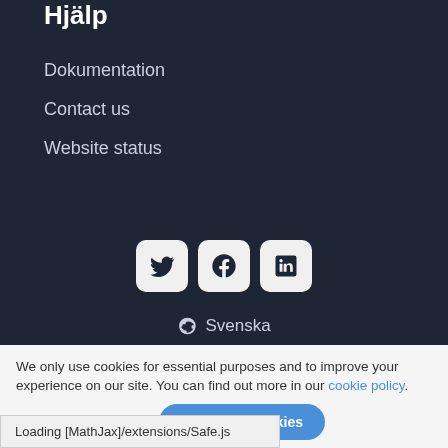Hjälp
Dokumentation
Contact us
Website status
[Figure (other): Social media icons: Twitter, Facebook, LinkedIn in rounded square boxes]
Svenska
We only use cookies for essential purposes and to improve your experience on our site. You can find out more in our cookie policy.
Essential cookies only   Accept all cookies
Loading [MathJax]/extensions/Safe.js